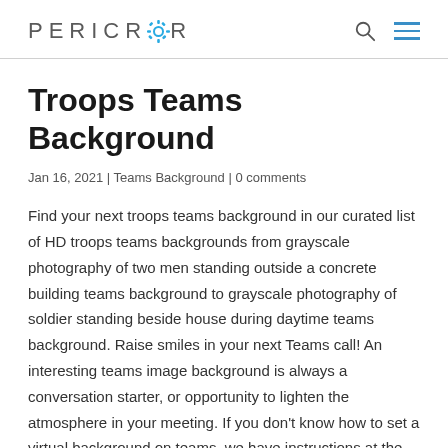PERICROR
Troops Teams Background
Jan 16, 2021 | Teams Background | 0 comments
Find your next troops teams background in our curated list of HD troops teams backgrounds from grayscale photography of two men standing outside a concrete building teams background to grayscale photography of soldier standing beside house during daytime teams background. Raise smiles in your next Teams call! An interesting teams image background is always a conversation starter, or opportunity to lighten the atmosphere in your meeting. If you don't know how to set a virtual background on teams, we have instructions at the bottom of this post. Now let's get to our list of our